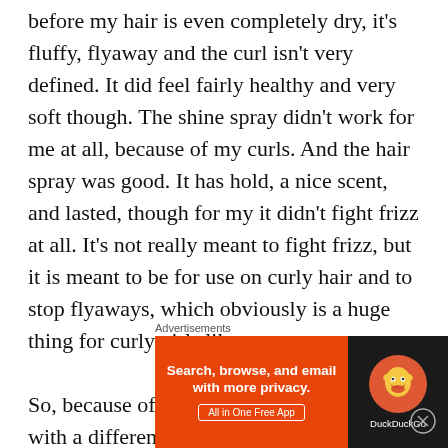before my hair is even completely dry, it's fluffy, flyaway and the curl isn't very defined. It did feel fairly healthy and very soft though. The shine spray didn't work for me at all, because of my curls. And the hair spray was good. It has hold, a nice scent, and lasted, though for my it didn't fight frizz at all. It's not really meant to fight frizz, but it is meant to be for use on curly hair and to stop flyaways, which obviously is a huge thing for curly girls like me.

So, because of this, I got a friend of mine with a different hair type to try these out, and she LOVED them. She has thick, dyed, more straight with a slight
[Figure (other): DuckDuckGo advertisement banner: orange left panel with text 'Search, browse, and email with more privacy. All in One Free App' and dark right panel with DuckDuckGo duck logo and brand name.]